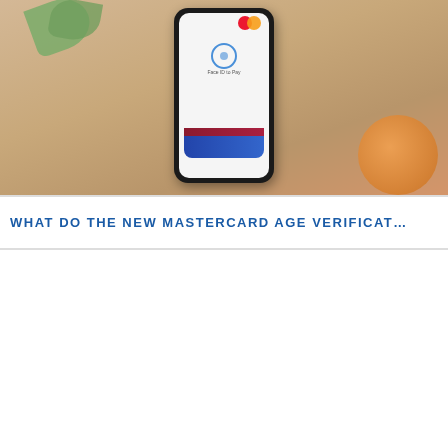[Figure (photo): Overhead photo of a smartphone showing Apple Pay / mobile payment screen with a Mastercard logo, placed on a warm-toned wooden surface with a plant and orange coaster.]
WHAT DO THE NEW MASTERCARD AGE VERIFICAT...
[Figure (photo): Photo of a person wearing a blue gaming headset and glasses, sitting in front of two computer monitors displaying game content, in a dark gaming setup.]